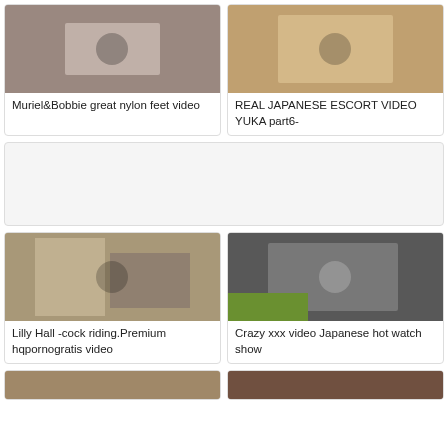[Figure (photo): Video thumbnail - adult content]
Muriel&Bobbie great nylon feet video
[Figure (photo): Video thumbnail - adult content]
REAL JAPANESE ESCORT VIDEO YUKA part6-
[Figure (other): Advertisement block - gray placeholder]
[Figure (photo): Video thumbnail - adult content]
Lilly Hall -cock riding.Premium hqpornogratis video
[Figure (photo): Video thumbnail - adult content]
Crazy xxx video Japanese hot watch show
[Figure (photo): Video thumbnail - adult content (partial)]
[Figure (photo): Video thumbnail - adult content (partial)]